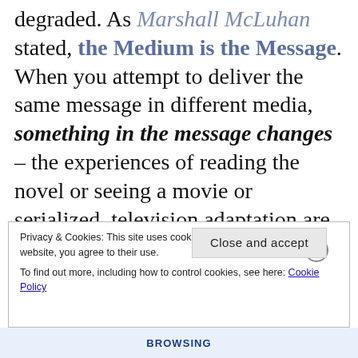degraded. As Marshall McLuhan stated, the Medium is the Message. When you attempt to deliver the same message in different media, something in the message changes – the experiences of reading the novel or seeing a movie or serialized television adaptation are always different.
Privacy & Cookies: This site uses cookies. By continuing to use this website, you agree to their use. To find out more, including how to control cookies, see here: Cookie Policy
Close and accept
BROWSING